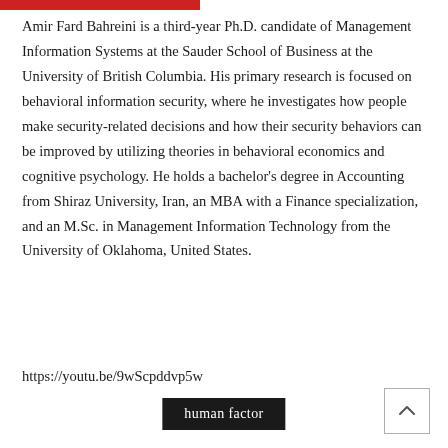Amir Fard Bahreini is a third-year Ph.D. candidate of Management Information Systems at the Sauder School of Business at the University of British Columbia. His primary research is focused on behavioral information security, where he investigates how people make security-related decisions and how their security behaviors can be improved by utilizing theories in behavioral economics and cognitive psychology. He holds a bachelor's degree in Accounting from Shiraz University, Iran, an MBA with a Finance specialization, and an M.Sc. in Management Information Technology from the University of Oklahoma, United States.
https://youtu.be/9wScpddvp5w
human factor